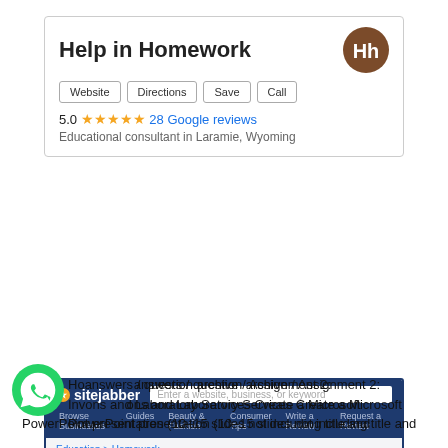[Figure (screenshot): Google Maps business card for 'Help in Homework' showing logo, action buttons (Website, Directions, Save, Call), 5.0 star rating with 28 Google reviews link, and description 'Educational consultant in Laramie, Wyoming']
[Figure (screenshot): Sitejabber review site screenshot showing Helpinhomework.org listing with 5 orange stars, verified badge, website link, Write a Review and Ask a Question buttons]
Homework answers / question archive / Assignment 2: Investigations and Laboratory Services Create a Microsoft PowerPoint presentation (10–15 slides not including title and